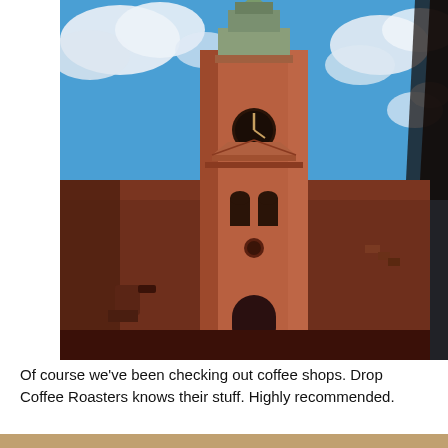[Figure (photo): Low-angle photograph of a classic European church tower (steeple/bell tower) with baroque architectural details, clock face visible, reddish-brown stone exterior, set against a bright blue sky with white clouds. The bottom portion shows the lower facade of the church building.]
Of course we've been checking out coffee shops. Drop Coffee Roasters knows their stuff. Highly recommended.